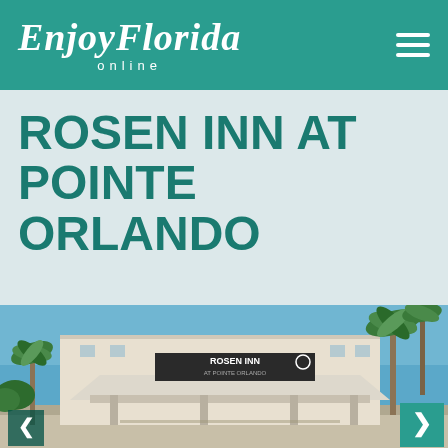EnjoyFlorida online
ROSEN INN AT POINTE ORLANDO
[Figure (photo): Exterior photo of Rosen Inn at Pointe Orlando hotel entrance with palm trees and blue sky, showing the hotel sign and covered drop-off area. Navigation arrows visible on left and right sides.]